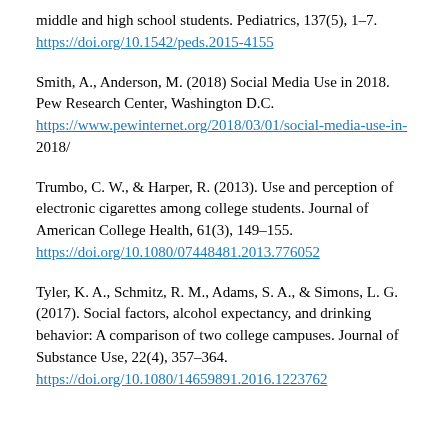middle and high school students. Pediatrics, 137(5), 1–7. https://doi.org/10.1542/peds.2015-4155
Smith, A., Anderson, M. (2018) Social Media Use in 2018. Pew Research Center, Washington D.C. https://www.pewinternet.org/2018/03/01/social-media-use-in-2018/
Trumbo, C. W., & Harper, R. (2013). Use and perception of electronic cigarettes among college students. Journal of American College Health, 61(3), 149–155. https://doi.org/10.1080/07448481.2013.776052
Tyler, K. A., Schmitz, R. M., Adams, S. A., & Simons, L. G. (2017). Social factors, alcohol expectancy, and drinking behavior: A comparison of two college campuses. Journal of Substance Use, 22(4), 357–364. https://doi.org/10.1080/14659891.2016.1223762